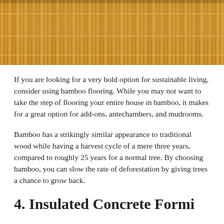[Figure (photo): Close-up photo of bamboo stalks arranged vertically, showing natural golden-brown color with horizontal nodes/joints, filling the top portion of the page.]
If you are looking for a very bold option for sustainable living, consider using bamboo flooring. While you may not want to take the step of flooring your entire house in bamboo, it makes for a great option for add-ons, antechambers, and mudrooms.
Bamboo has a strikingly similar appearance to traditional wood while having a harvest cycle of a mere three years, compared to roughly 25 years for a normal tree. By choosing bamboo, you can slow the rate of deforestation by giving trees a chance to grow back.
4. Insulated Concrete Forming